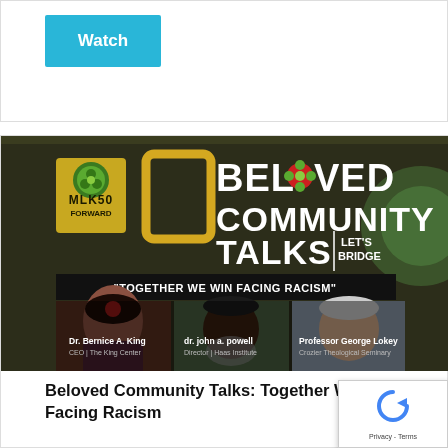[Figure (other): Watch button (teal/cyan) at top of page]
[Figure (photo): Beloved Community Talks event banner. Dark olive/black background with 'BELOVED COMMUNITY TALKS | LET'S BRIDGE' in large white and red/yellow text with MLK50 Forward logo. Subtitle: 'TOGETHER WE WIN FACING RACISM'. Photos of three speakers: Dr. Bernice A. King (CEO | The King Center), dr. john a. powell (Director | Haas Institute), Professor George Lokey (Crozier Theological Seminary).]
Beloved Community Talks: Together We Win Facing Racism
[Figure (other): Watch button (teal/cyan) at bottom of page]
[Figure (other): Google reCAPTCHA badge with Privacy and Terms links]